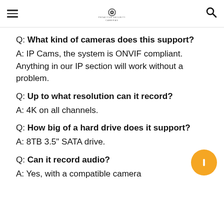Proactive Security Cameras
Q: What kind of cameras does this support?
A: IP Cams, the system is ONVIF compliant. Anything in our IP section will work without a problem.
Q: Up to what resolution can it record?
A: 4K on all channels.
Q: How big of a hard drive does it support?
A: 8TB 3.5" SATA drive.
Q: Can it record audio?
A: Yes, with a compatible camera